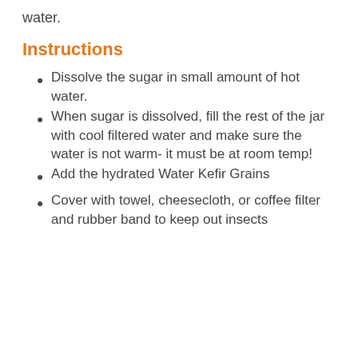water.
Instructions
Dissolve the sugar in small amount of hot water.
When sugar is dissolved, fill the rest of the jar with cool filtered water and make sure the water is not warm- it must be at room temp!
Add the hydrated Water Kefir Grains
Cover with towel, cheesecloth, or coffee filter and rubber band to keep out insects